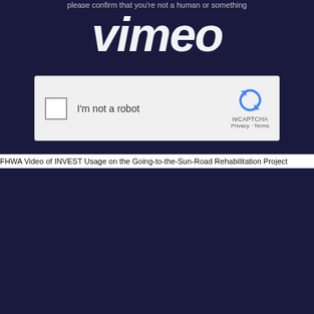[Figure (screenshot): Vimeo verification page screenshot showing reCAPTCHA 'I'm not a robot' checkbox on dark navy background with Vimeo watermark logo]
FHWA Video of INVEST Usage on the Going-to-the-Sun-Road Rehabilitation Project
[Figure (screenshot): Second Vimeo verification page screenshot showing 'verify to continue' heading and body text about high number of errors, with Vimeo watermark logo and reCAPTCHA box]